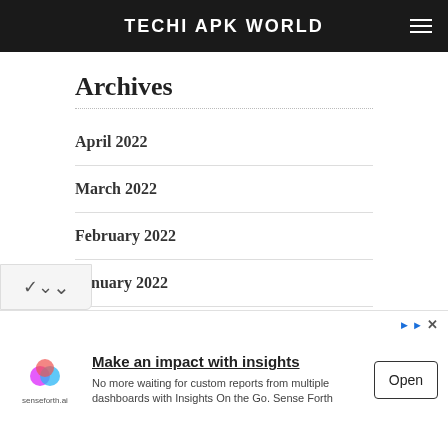TECHI APK WORLD
Archives
April 2022
March 2022
February 2022
January 2022
December 2021
Make an impact with insights
No more waiting for custom reports from multiple dashboards with Insights On the Go. Sense Forth